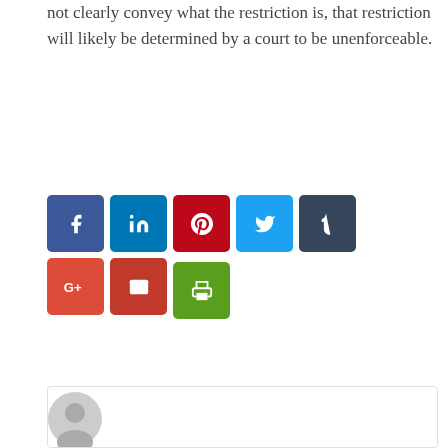not clearly convey what the restriction is, that restriction will likely be determined by a court to be unenforceable.
[Figure (infographic): Social media sharing buttons: Facebook, LinkedIn, Pinterest, Twitter, Tumblr, Google+, Email, Print]